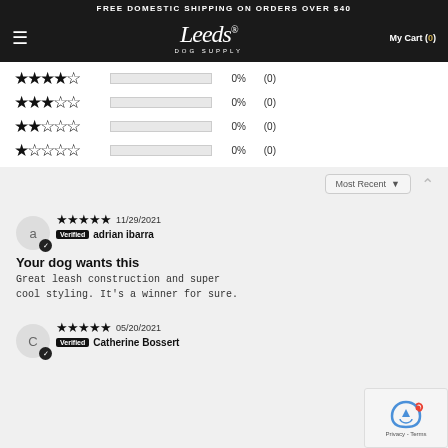FREE DOMESTIC SHIPPING ON ORDERS OVER $40
[Figure (logo): Leeds Dog Supply logo in white italic script on dark background, with 'DOG SUPPLY' text below and 'My Cart (0)' on the right]
| Stars | Bar | Pct | Count |
| --- | --- | --- | --- |
| 4 stars |  | 0% | (0) |
| 3 stars |  | 0% | (0) |
| 2 stars |  | 0% | (0) |
| 1 star |  | 0% | (0) |
Most Recent ▼
★★★★★ 11/29/2021
Verified  adrian ibarra
Your dog wants this
Great leash construction and super cool styling. It's a winner for sure.
★★★★★ 05/20/2021
Verified  Catherine Bossert